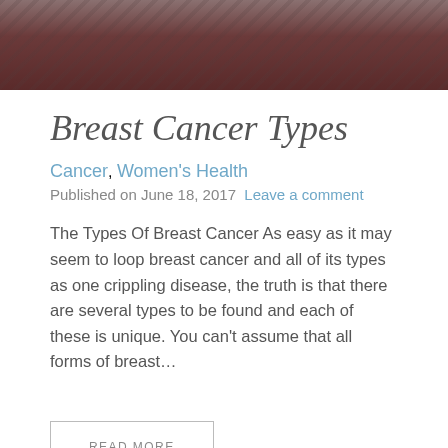[Figure (photo): Close-up photograph of a person's chest/neck area with a decorative fabric background, partially cropped at top]
Breast Cancer Types
Cancer, Women's Health
Published on June 18, 2017  Leave a comment
The Types Of Breast Cancer As easy as it may seem to loop breast cancer and all of its types as one crippling disease, the truth is that there are several types to be found and each of these is unique. You can't assume that all forms of breast…
READ MORE